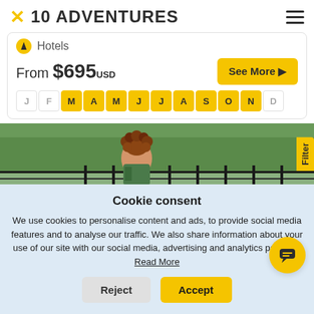✕ 10 ADVENTURES
Hotels
From $695 USD
See More ▶
J F M A M J J A S O N D
[Figure (photo): Person with curly hair sitting on a wooden dock/walkway next to a railing, with trees and water in the background]
Cookie consent
We use cookies to personalise content and ads, to provide social media features and to analyse our traffic. We also share information about your use of our site with our social media, advertising and analytics partners. Read More
Reject
Accept